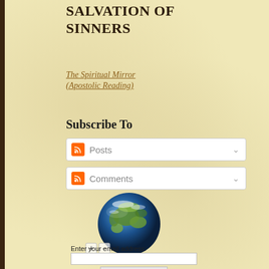SALVATION OF SINNERS
The Spiritual Mirror (Apostolic Reading)
Subscribe To
[Figure (other): RSS feed subscribe box for Posts with dropdown arrow]
[Figure (other): RSS feed subscribe box for Comments with dropdown arrow]
[Figure (other): Globe/world map 3D sphere widget (RevolverMaps) with zoom controls]
Enter your email address:
[Figure (other): Email input field and Subscribe button]